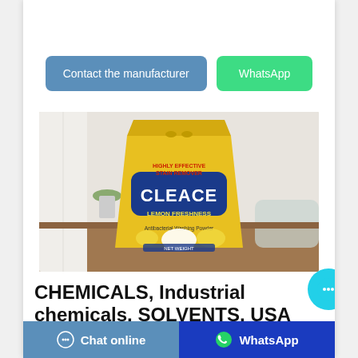Contact the manufacturer
WhatsApp
[Figure (photo): A yellow bag of CLEACE brand laundry washing powder with Lemon Freshness scent, labeled Highly Effective Stain Remover, placed on a wooden surface with a white pot plant and bath towel in the background.]
CHEMICALS, Industrial chemicals, SOLVENTS, USA
Chat online
WhatsApp